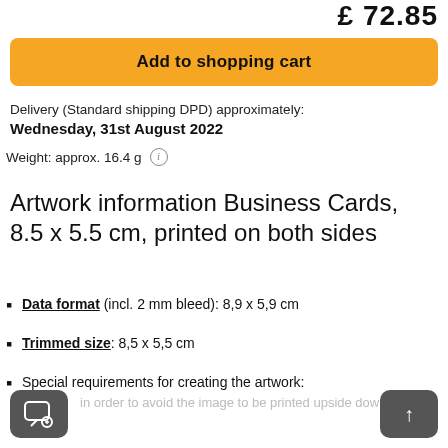£ 72.85
Add to shopping cart
Delivery (Standard shipping DPD) approximately:
Wednesday, 31st August 2022
Weight: approx. 16.4 g
Artwork information Business Cards, 8.5 x 5.5 cm, printed on both sides
Data format (incl. 2 mm bleed): 8,9 x 5,9 cm
Trimmed size: 8,5 x 5,5 cm
Special requirements for creating the artwork:
in order to avoid the image to be printed upside down